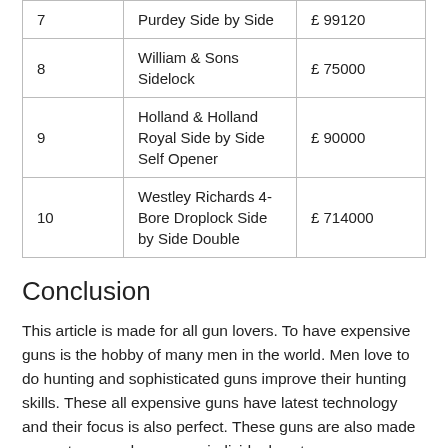|  | Name | Price |
| --- | --- | --- |
| 7 | Purdey Side by Side | £ 99120 |
| 8 | William & Sons Sidelock | £ 75000 |
| 9 | Holland & Holland Royal Side by Side Self Opener | £ 90000 |
| 10 | Westley Richards 4-Bore Droplock Side by Side Double | £ 714000 |
Conclusion
This article is made for all gun lovers. To have expensive guns is the hobby of many men in the world. Men love to do hunting and sophisticated guns improve their hunting skills. These all expensive guns have latest technology and their focus is also perfect. These guns are also made on customer orders as per individual customer specifications. Like women love to have expensive jewellery men also love to purchase these expensive guns. This article also tells us the unique features of these guns.